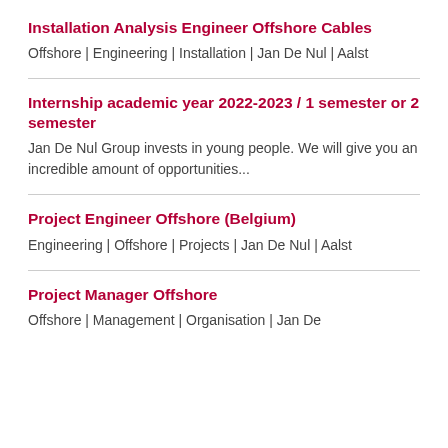Installation Analysis Engineer Offshore Cables
Offshore | Engineering | Installation | Jan De Nul | Aalst
Internship academic year 2022-2023 / 1 semester or 2 semester
Jan De Nul Group invests in young people. We will give you an incredible amount of opportunities...
Project Engineer Offshore (Belgium)
Engineering | Offshore | Projects | Jan De Nul | Aalst
Project Manager Offshore
Offshore | Management | Organisation | Jan De